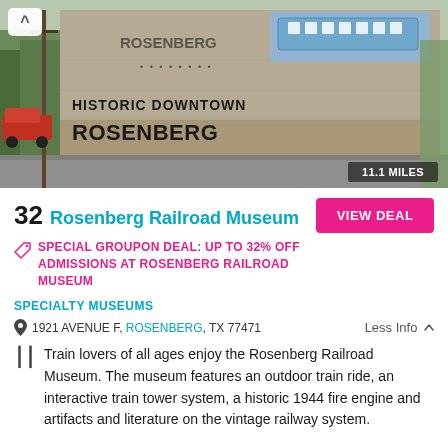[Figure (photo): Exterior photo of Historic Downtown Rosenberg wall mural featuring a train car painting and large text reading HISTORIC DOWNTOWN ROSENBERG. Distance badge shows 11.1 MILES.]
32 Rosenberg Railroad Museum
VIEW DEAL
SPECIAL GROUPON DEAL: UP TO 32% OFF ADMISSIONS AT ROSENBERG RAILROAD MUSEUM
SPECIALTY MUSEUMS
1921 AVENUE F, ROSENBERG, TX 77471
Less Info
Train lovers of all ages enjoy the Rosenberg Railroad Museum. The museum features an outdoor train ride, an interactive train tower system, a historic 1944 fire engine and artifacts and literature on the vintage railway system.